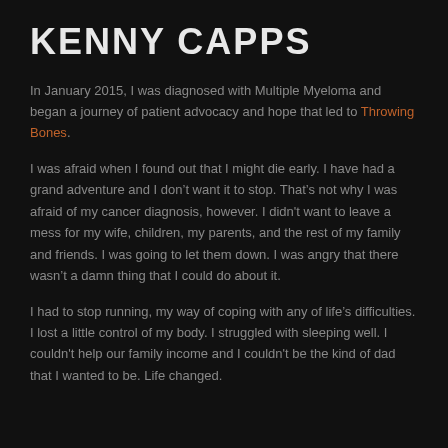KENNY CAPPS
In January 2015, I was diagnosed with Multiple Myeloma and began a journey of patient advocacy and hope that led to Throwing Bones.
I was afraid when I found out that I might die early. I have had a grand adventure and I don’t want it to stop. That’s not why I was afraid of my cancer diagnosis, however. I didn't want to leave a mess for my wife, children, my parents, and the rest of my family and friends. I was going to let them down. I was angry that there wasn’t a damn thing that I could do about it.
I had to stop running, my way of coping with any of life’s difficulties. I lost a little control of my body. I struggled with sleeping well. I couldn't help our family income and I couldn't be the kind of dad that I wanted to be. Life changed.